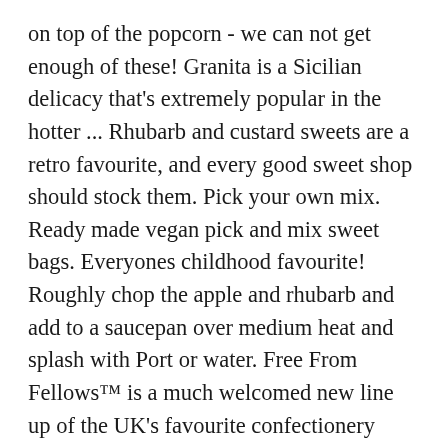on top of the popcorn - we can not get enough of these! Granita is a Sicilian delicacy that's extremely popular in the hotter ... Rhubarb and custard sweets are a retro favourite, and every good sweet shop should stock them. Pick your own mix. Ready made vegan pick and mix sweet bags. Everyones childhood favourite! Roughly chop the apple and rhubarb and add to a saucepan over medium heat and splash with Port or water. Free From Fellows™ is a much welcomed new line up of the UK's favourite confectionery products and is proud to announce the addition of totally yummy Rhubarb & Custard sweets, an old favourite of the confectionery world. Sunday: Super Simple